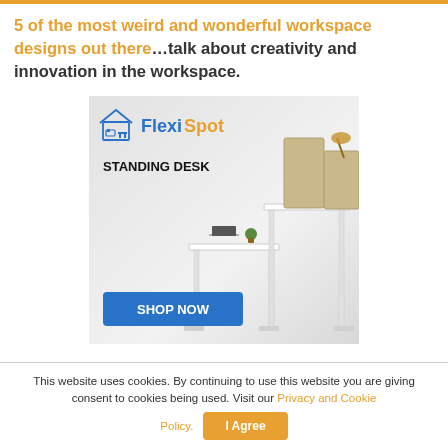5 of the most weird and wonderful workspace designs out there…talk about creativity and innovation in the workspace.
[Figure (photo): FlexiSpot advertisement showing a standing desk with beige privacy panels, a laptop, and office accessories. Text reads 'STANDING DESK' and a blue 'SHOP NOW' button is visible. The FlexiSpot logo appears at the top with orange and blue text.]
This website uses cookies. By continuing to use this website you are giving consent to cookies being used. Visit our Privacy and Cookie Policy.